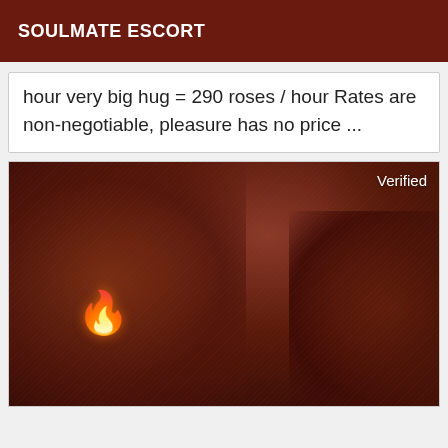SOULMATE ESCORT
hour very big hug = 290 roses / hour Rates are non-negotiable, pleasure has no price ...
[Figure (photo): Close-up photo with a flame emoji overlay and 'Verified' text badge in top-right corner]